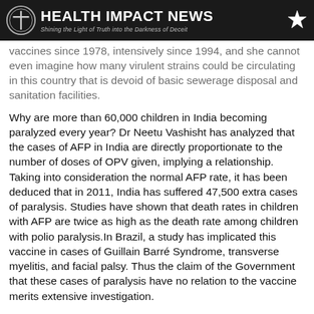HEALTH IMPACT NEWS — Shining the Light of Truth into the Darkness of Deceit
vaccines since 1978, intensively since 1994, and one cannot even imagine how many virulent strains could be circulating in this country that is devoid of basic sewerage disposal and sanitation facilities.
Why are more than 60,000 children in India becoming paralyzed every year? Dr Neetu Vashisht has analyzed that the cases of AFP in India are directly proportionate to the number of doses of OPV given, implying a relationship. Taking into consideration the normal AFP rate, it has been deduced that in 2011, India has suffered 47,500 extra cases of paralysis. Studies have shown that death rates in children with AFP are twice as high as the death rate among children with polio paralysis.In Brazil, a study has implicated this vaccine in cases of Guillain Barré Syndrome, transverse myelitis, and facial palsy. Thus the claim of the Government that these cases of paralysis have no relation to the vaccine merits extensive investigation.